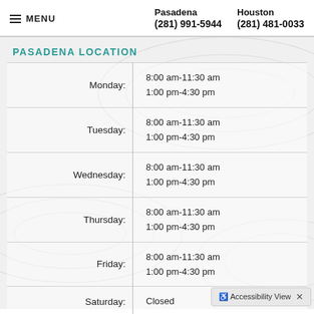MENU | Pasadena (281) 991-5944 | Houston (281) 481-0033
PASADENA LOCATION
| Day | Hours |
| --- | --- |
| Monday: | 8:00 am-11:30 am
1:00 pm-4:30 pm |
| Tuesday: | 8:00 am-11:30 am
1:00 pm-4:30 pm |
| Wednesday: | 8:00 am-11:30 am
1:00 pm-4:30 pm |
| Thursday: | 8:00 am-11:30 am
1:00 pm-4:30 pm |
| Friday: | 8:00 am-11:30 am
1:00 pm-4:30 pm |
| Saturday: | Closed |
| Sunday: |  |
Accessibility View ×